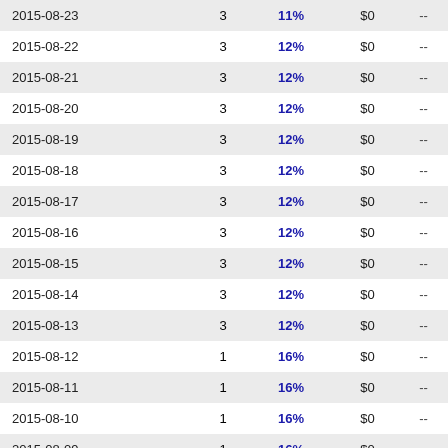| 2015-08-23 | 3 | 11% | $0 | -- |
| 2015-08-22 | 3 | 12% | $0 | -- |
| 2015-08-21 | 3 | 12% | $0 | -- |
| 2015-08-20 | 3 | 12% | $0 | -- |
| 2015-08-19 | 3 | 12% | $0 | -- |
| 2015-08-18 | 3 | 12% | $0 | -- |
| 2015-08-17 | 3 | 12% | $0 | -- |
| 2015-08-16 | 3 | 12% | $0 | -- |
| 2015-08-15 | 3 | 12% | $0 | -- |
| 2015-08-14 | 3 | 12% | $0 | -- |
| 2015-08-13 | 3 | 12% | $0 | -- |
| 2015-08-12 | 1 | 16% | $0 | -- |
| 2015-08-11 | 1 | 16% | $0 | -- |
| 2015-08-10 | 1 | 16% | $0 | -- |
| 2015-08-09 | 1 | 16% | $0 | -- |
| 2015-08-08 | 1 | 16% | $0 | -- |